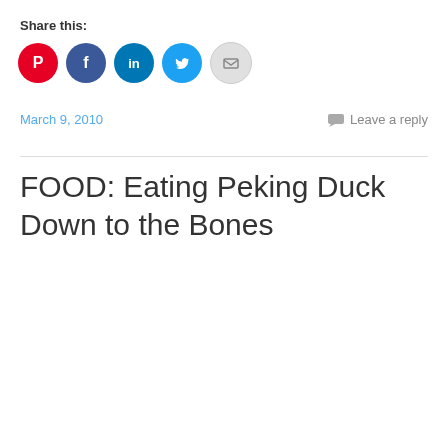Share this:
[Figure (infographic): Row of five circular social media share icons: Pinterest (red), Facebook (dark blue), LinkedIn (blue), Twitter (light blue), Email (light grey)]
March 9, 2010
Leave a reply
FOOD: Eating Peking Duck Down to the Bones